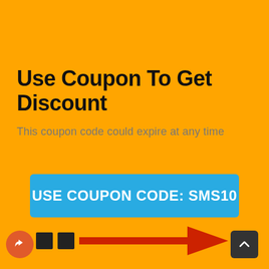Use Coupon To Get Discount
This coupon code could expire at any time
USE COUPON CODE: SMS10
[Figure (infographic): Red arrow pointing right with two small square blocks, a red circular share icon on the left, and a dark scroll-to-top button on the right, on an orange background at the bottom of the coupon image.]